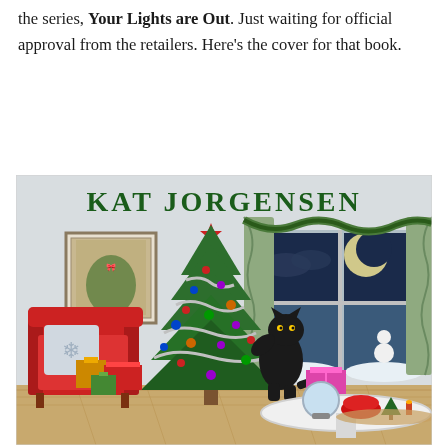the series, Your Lights are Out. Just waiting for official approval from the retailers. Here's the cover for that book.
[Figure (illustration): Book cover for 'Your Lights are Out' by Kat Jorgensen. Shows a cozy living room Christmas scene with a decorated Christmas tree, a black cat batting at the tree, a red armchair with snowflake pillow, wrapped gifts, a window showing a snowy night scene with full moon and snowman outside, green curtains with garland, a framed picture of a cat on the wall, and a round white table with a snow globe, red bowl, and decorative items.]